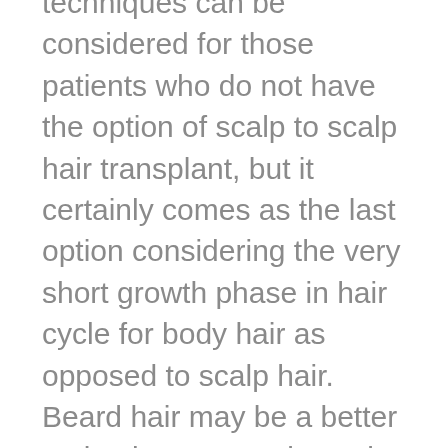techniques can be considered for those patients who do not have the option of scalp to scalp hair transplant, but it certainly comes as the last option considering the very short growth phase in hair cycle for body hair as opposed to scalp hair. Beard hair may be a better option in some patients, but all individual options need to be considered after a complete evaluation of patient's supply and demand of hair.
* More information on body hair transplants and its results in contrast to that of scalp hair transplants, please visit our hair